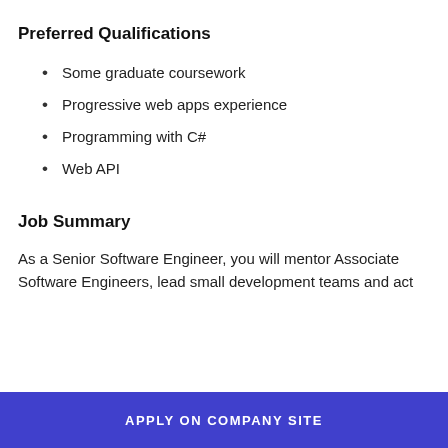Preferred Qualifications
Some graduate coursework
Progressive web apps experience
Programming with C#
Web API
Job Summary
As a Senior Software Engineer, you will mentor Associate Software Engineers, lead small development teams and act
APPLY ON COMPANY SITE